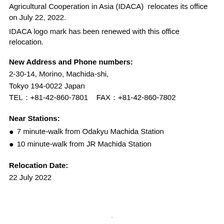We are pleased to inform you that Institute for the Development of Agricultural Cooperation in Asia (IDACA) relocates its office on July 22, 2022.
IDACA logo mark has been renewed with this office relocation.
New Address and Phone numbers:
2-30-14, Morino, Machida-shi,
Tokyo 194-0022 Japan
TEL：+81-42-860-7801    FAX：+81-42-860-7802
Near Stations:
7 minute-walk from Odakyu Machida Station
10 minute-walk from JR Machida Station
Relocation Date:
22 July 2022